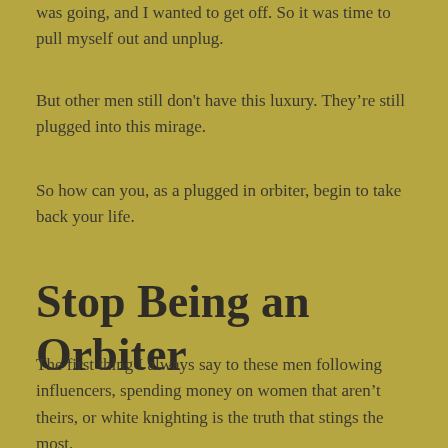was going, and I wanted to get off. So it was time to pull myself out and unplug.
But other men still don't have this luxury. They're still plugged into this mirage.
So how can you, as a plugged in orbiter, begin to take back your life.
Stop Being an Orbiter
The first thing I always say to these men following influencers, spending money on women that aren't theirs, or white knighting is the truth that stings the most.